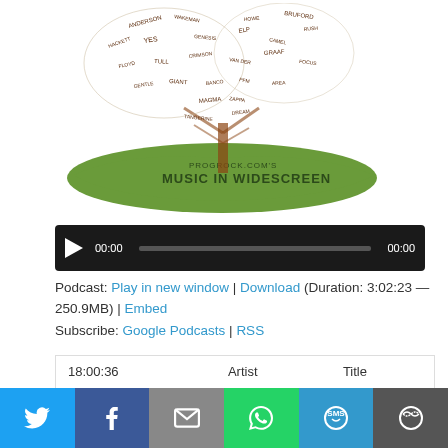[Figure (illustration): Word-cloud tree illustration for PROGROCK.COM'S MUSIC IN WIDESCREEN podcast logo. A tree shape formed from band/artist names in brown text, with a large green ground/shadow beneath reading 'PROGROCK.COM'S MUSIC IN WIDESCREEN'.]
[Figure (screenshot): Audio player widget with dark background, play button, time display '00:00', progress bar, and end time '00:00'.]
Podcast: Play in new window | Download (Duration: 3:02:23 — 250.9MB) | Embed
Subscribe: Google Podcasts | RSS
| 18:00:36 | Artist | Title |
| --- | --- | --- |
[Figure (infographic): Social sharing bar with six buttons: Twitter (blue), Facebook (dark blue), Email (grey), WhatsApp (green), SMS (light blue), More (dark grey).]